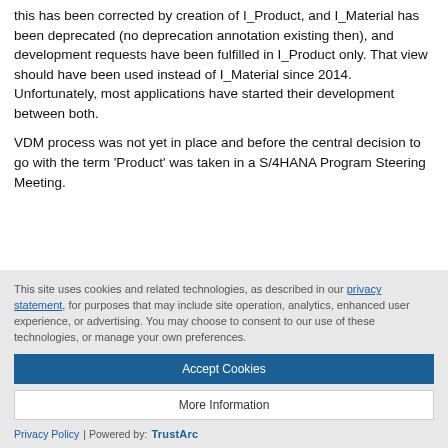this has been corrected by creation of I_Product, and I_Material has been deprecated (no deprecation annotation existing then), and development requests have been fulfilled in I_Product only. That view should have been used instead of I_Material since 2014. Unfortunately, most applications have started their development between both.
VDM process was not yet in place and before the central decision to go with the term 'Product' was taken in a S/4HANA Program Steering Meeting.
This site uses cookies and related technologies, as described in our privacy statement, for purposes that may include site operation, analytics, enhanced user experience, or advertising. You may choose to consent to our use of these technologies, or manage your own preferences.
Accept Cookies
More Information
Privacy Policy | Powered by: TrustArc